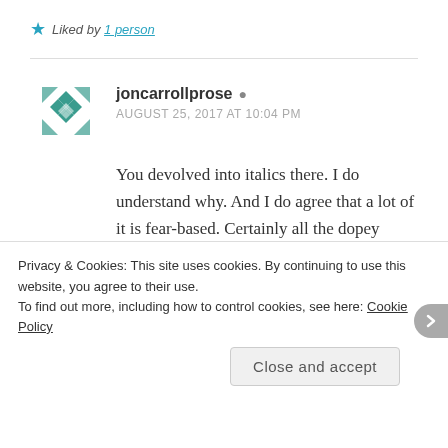★ Liked by 1 person
joncarrollprose
AUGUST 25, 2017 AT 10:04 PM
You devolved into italics there. I do understand why. And I do agree that a lot of it is fear-based. Certainly all the dopey social policies are fear of the Other. But greed is greed.
Privacy & Cookies: This site uses cookies. By continuing to use this website, you agree to their use.
To find out more, including how to control cookies, see here: Cookie Policy
Close and accept